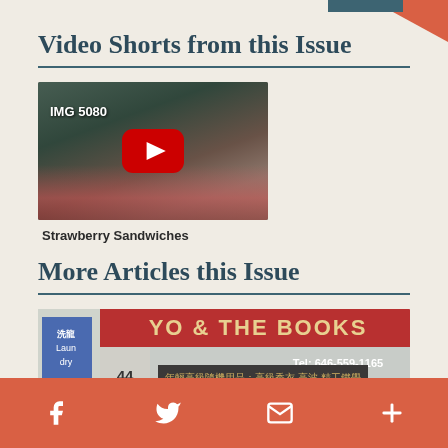Video Shorts from this Issue
[Figure (screenshot): YouTube video thumbnail showing 'IMG 5080' with a red play button, depicting strawberries on a surface with floral background]
Strawberry Sandwiches
More Articles this Issue
[Figure (photo): Street-level photo of a storefront with red awning reading 'YO & THE BOOKS', number 44, Tel: 646-559-1165, Chinese text on signage and above entrance, with a laundry sign visible on the left]
Facebook | Twitter | Email | More (social share icons)